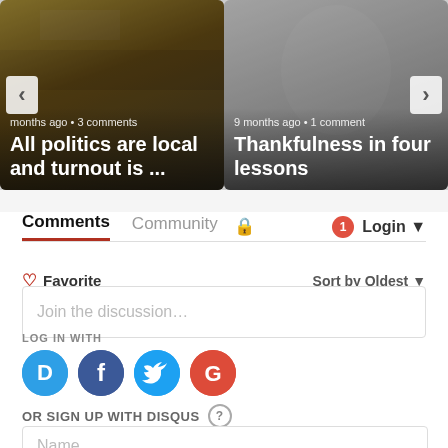[Figure (screenshot): Left article card with dark background showing 'All politics are local and turnout is ...' with metadata 'months ago • 3 comments' and navigation arrows]
[Figure (screenshot): Right article card with grey/photo background showing 'Thankfulness in four lessons' with metadata '9 months ago • 1 comment']
Comments   Community   🔒   1   Login
♡ Favorite   Sort by Oldest
Join the discussion...
LOG IN WITH
[Figure (logo): Social login icons: Disqus (D), Facebook (f), Twitter bird, Google (G)]
OR SIGN UP WITH DISQUS ?
Name